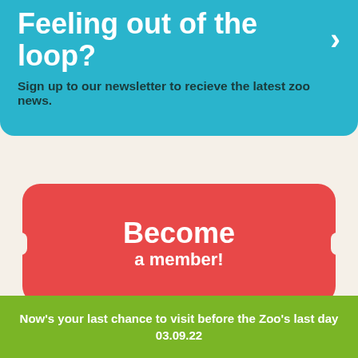Feeling out of the loop?
Sign up to our newsletter to recieve the latest zoo news.
[Figure (infographic): Red rounded button with white text reading 'Become a member!' with notch cutouts on left and right sides and a drop shadow.]
Now's your last chance to visit before the Zoo's last day 03.09.22